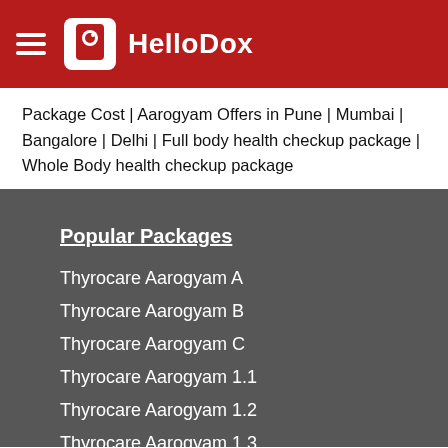HelloDox
Package Cost | Aarogyam Offers in Pune | Mumbai | Bangalore | Delhi | Full body health checkup package | Whole Body health checkup package
Popular Packages
Thyrocare Aarogyam A
Thyrocare Aarogyam B
Thyrocare Aarogyam C
Thyrocare Aarogyam 1.1
Thyrocare Aarogyam 1.2
Thyrocare Aarogyam 1.3